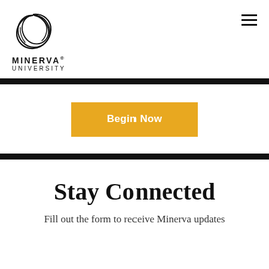[Figure (logo): Minerva University logo: a hand-drawn circle/swirl above the text MINERVA UNIVERSITY]
MINERVA® UNIVERSITY
[Figure (other): Hamburger menu icon (three horizontal lines)]
Begin Now
Stay Connected
Fill out the form to receive Minerva updates